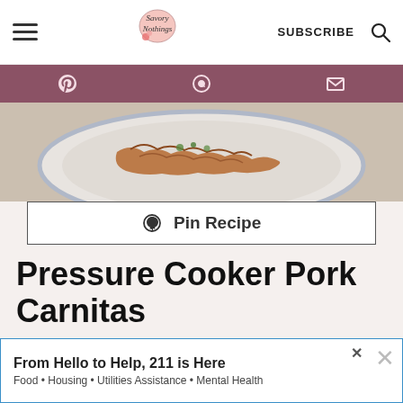Savory Nothings — SUBSCRIBE
[Figure (screenshot): Social share bar with Pinterest, WhatsApp, and email icons on a mauve/dusty rose background]
[Figure (photo): Overhead photo of pulled pork carnitas on a white plate with blue rim, garnished with herbs]
Pin Recipe
Pressure Cooker Pork Carnitas
Don't have enough time for slow cooking? No problem! Make your pork carnitas in
[Figure (screenshot): Ad banner: From Hello to Help, 211 is Here — Food • Housing • Utilities Assistance • Mental Health]